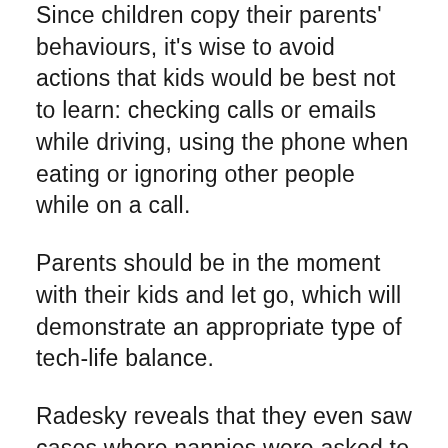Since children copy their parents' behaviours, it's wise to avoid actions that kids would be best not to learn: checking calls or emails while driving, using the phone when eating or ignoring other people while on a call.
Parents should be in the moment with their kids and let go, which will demonstrate an appropriate type of tech-life balance.
Radesky reveals that they even saw cases where nannies were asked to sign contracts limiting social media during work hours.
So, for those parents who are